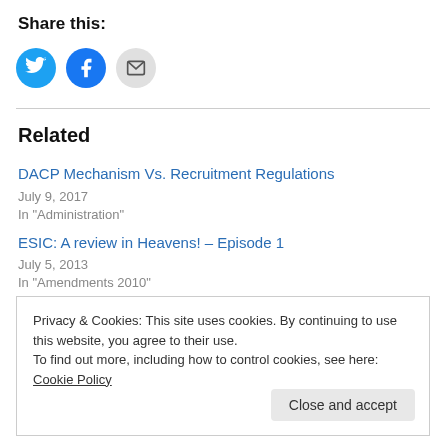Share this:
[Figure (illustration): Three social sharing icon circles: Twitter (blue bird), Facebook (blue F), Email (gray envelope)]
Related
DACP Mechanism Vs. Recruitment Regulations
July 9, 2017
In "Administration"
ESIC: A review in Heavens! – Episode 1
July 5, 2013
In "Amendments 2010"
Privacy & Cookies: This site uses cookies. By continuing to use this website, you agree to their use.
To find out more, including how to control cookies, see here: Cookie Policy
Close and accept